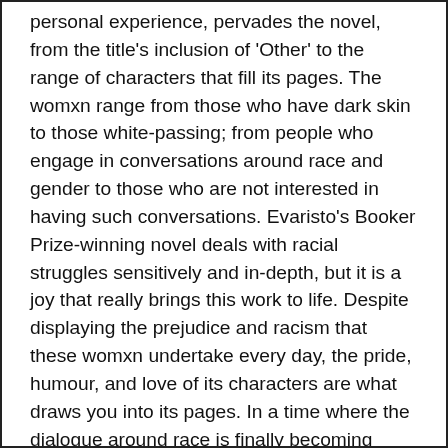personal experience, pervades the novel, from the title's inclusion of 'Other' to the range of characters that fill its pages. The womxn range from those who have dark skin to those white-passing; from people who engage in conversations around race and gender to those who are not interested in having such conversations. Evaristo's Booker Prize-winning novel deals with racial struggles sensitively and in-depth, but it is a joy that really brings this work to life. Despite displaying the prejudice and racism that these womxn undertake every day, the pride, humour, and love of its characters are what draws you into its pages. In a time where the dialogue around race is finally becoming more open, Evaristo's creates three-dimensional characters